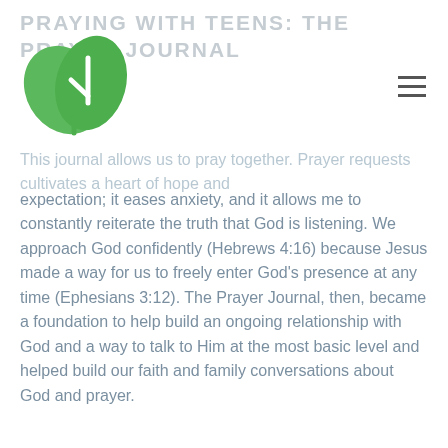PRAYING WITH TEENS: THE PRAYER JOURNAL
[Figure (logo): Green leaf logo with white cross/check mark design]
This journal allows us to pray together. Prayer requests cultivates a heart of hope and expectation; it eases anxiety, and it allows me to constantly reiterate the truth that God is listening. We approach God confidently (Hebrews 4:16) because Jesus made a way for us to freely enter God’s presence at any time (Ephesians 3:12). The Prayer Journal, then, became a foundation to help build an ongoing relationship with God and a way to talk to Him at the most basic level and helped build our faith and family conversations about God and prayer.